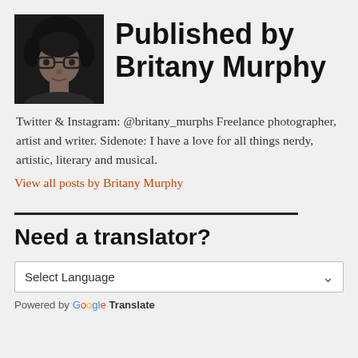[Figure (photo): Black and white portrait photo of Britany Murphy, a woman with curly hair wearing glasses]
Published by Britany Murphy
Twitter & Instagram: @britany_murphs Freelance photographer, artist and writer. Sidenote: I have a love for all things nerdy, artistic, literary and musical.
View all posts by Britany Murphy
Need a translator?
Select Language
Powered by Google Translate